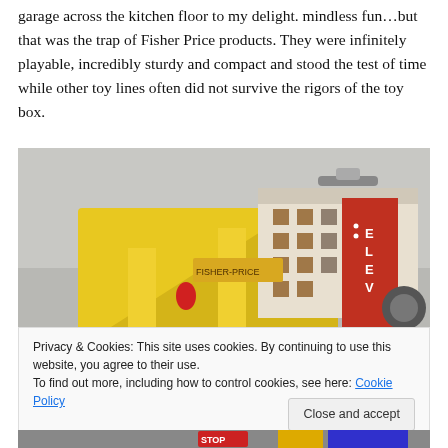garage across the kitchen floor to my delight. mindless fun...but that was the trap of Fisher Price products. They were infinitely playable, incredibly sturdy and compact and stood the test of time while other toy lines often did not survive the rigors of the toy box.
[Figure (photo): Fisher-Price toy garage/parking structure with yellow plastic ramps and pillars, red elevator section with 'ELEV' text visible, photographed on a grey surface]
Privacy & Cookies: This site uses cookies. By continuing to use this website, you agree to their use.
To find out more, including how to control cookies, see here: Cookie Policy
Close and accept
[Figure (photo): Bottom strip showing partial view of toys with a STOP sign visible and colorful items]